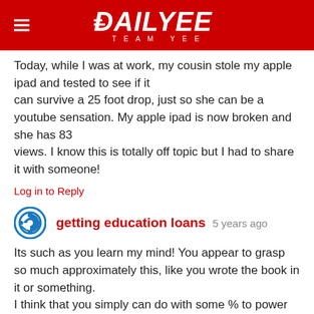DAILYEE TEAM YEE
Today, while I was at work, my cousin stole my apple ipad and tested to see if it can survive a 25 foot drop, just so she can be a youtube sensation. My apple ipad is now broken and she has 83 views. I know this is totally off topic but I had to share it with someone!
Log in to Reply
getting education loans 5 years ago
Its such as you learn my mind! You appear to grasp so much approximately this, like you wrote the book in it or something.
I think that you simply can do with some % to power the message house a little bit, however other than that, this is great blog.